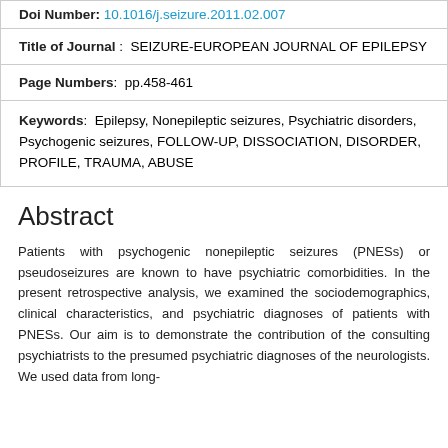| Doi Number: | 10.1016/j.seizure.2011.02.007 |
| Title of Journal: | SEIZURE-EUROPEAN JOURNAL OF EPILEPSY |
| Page Numbers: | pp.458-461 |
| Keywords: | Epilepsy, Nonepileptic seizures, Psychiatric disorders, Psychogenic seizures, FOLLOW-UP, DISSOCIATION, DISORDER, PROFILE, TRAUMA, ABUSE |
Abstract
Patients with psychogenic nonepileptic seizures (PNESs) or pseudoseizures are known to have psychiatric comorbidities. In the present retrospective analysis, we examined the sociodemographics, clinical characteristics, and psychiatric diagnoses of patients with PNESs. Our aim is to demonstrate the contribution of the consulting psychiatrists to the presumed psychiatric diagnoses of the neurologists. We used data from long-